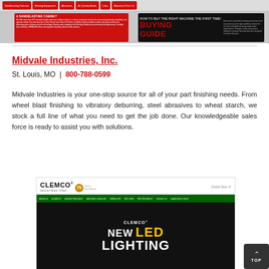[Figure (screenshot): Screenshot of a sandblasting cabinet and buying guide webpage with red navigation buttons and dark promotional banners]
Midvale Industries, Inc.
St. Louis, MO  |  800-788-0599
Midvale Industries is your one-stop source for all of your part finishing needs. From wheel blast finishing to vibratory deburring, steel abrasives to wheat starch, we stock a full line of what you need to get the job done. Our knowledgeable sales force is ready to assist you with solutions.
[Figure (screenshot): Screenshot of Clemco Industries Corp website showing CLEMCO NEW LED LIGHTING promotional banner with dark background and yellow text]